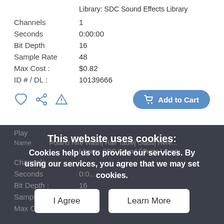Library: SDC Sound Effects Library
| Channels | 1 |
| Seconds | 0:00:00 |
| Bit Depth | 16 |
| Sample Rate | 48 |
| Max Cost : | $0.82 |
| ID # / DL : | 10139666 |
[Figure (screenshot): Cookie consent modal overlay on dark background with 'I Agree' and 'Learn More' buttons, overlaid on a second instance of the sound library listing]
This website uses cookies:
Cookies help us to provide our services. By using our services, you agree that we may set cookies.
I Agree
Learn More